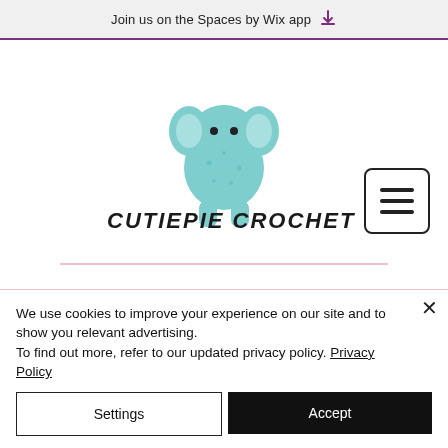Join us on the Spaces by Wix app
[Figure (logo): Cutiepie Crochet logo with a teal crochet elephant illustration above the handwritten-style text 'CUTIEPIE CROCHET']
We use cookies to improve your experience on our site and to show you relevant advertising.
To find out more, refer to our updated privacy policy. Privacy Policy
Settings
Accept